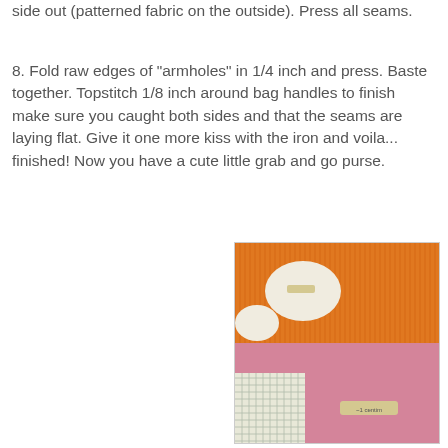side out (patterned fabric on the outside). Press all seams.
8. Fold raw edges of "armholes" in 1/4 inch and press. Baste together. Topstitch 1/8 inch around bag handles to finish make sure you caught both sides and that the seams are laying flat. Give it one more kiss with the iron and voila... finished! Now you have a cute little grab and go purse.
[Figure (photo): Photo of fabric pieces laid out on a cutting mat, showing orange striped fabric and pink solid fabric with pattern pieces and a ruler visible.]